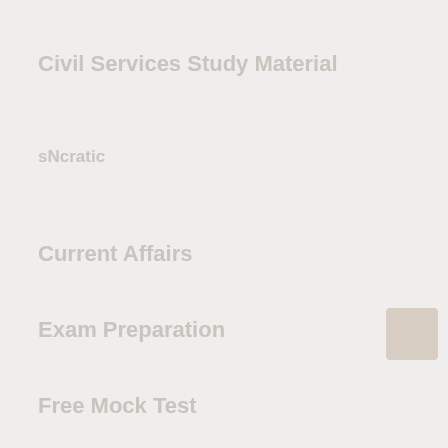Civil Services Study Material
sNcratic
Current Affairs
Exam Preparation
Free Mock Test
Govt. Policies
UPSC
Inspirational Stories
Job Updates
Latest from Jobs in India